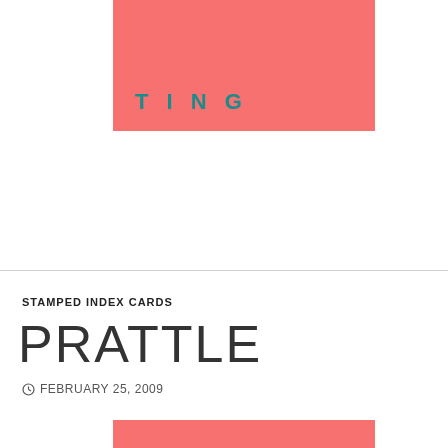[Figure (illustration): Salmon/coral colored rectangle partially visible at top of page with teal text 'TING' visible at bottom of the rectangle]
STAMPED INDEX CARDS
PRATTLE
FEBRUARY 25, 2009
[Figure (illustration): Salmon/coral colored rectangle partially visible at bottom of page]